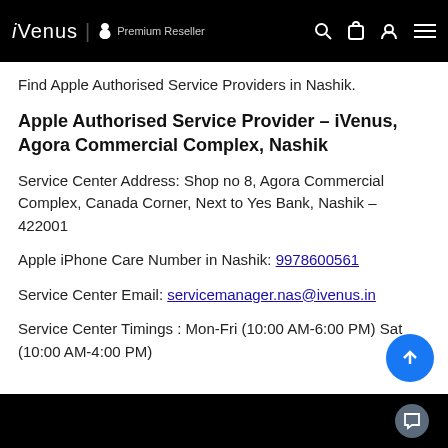iVenus | Apple Premium Reseller
Find Apple Authorised Service Providers in Nashik.
Apple Authorised Service Provider – iVenus, Agora Commercial Complex, Nashik
Service Center Address: Shop no 8, Agora Commercial Complex, Canada Corner, Next to Yes Bank, Nashik – 422001
Apple iPhone Care Number in Nashik: 9978600561
Service Center Email: servicemanager.nas@ivenus.in
Service Center Timings : Mon-Fri (10:00 AM-6:00 PM) Sat (10:00 AM-4:00 PM)